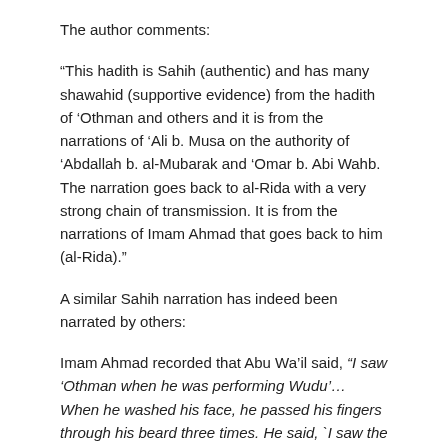The author comments:
“This hadith is Sahih (authentic) and has many shawahid (supportive evidence) from the hadith of ‘Othman and others and it is from the narrations of ‘Ali b. Musa on the authority of ‘Abdallah b. al-Mubarak and ‘Omar b. Abi Wahb. The narration goes back to al-Rida with a very strong chain of transmission. It is from the narrations of Imam Ahmad that goes back to him (al-Rida).”
A similar Sahih narration has indeed been narrated by others:
Imam Ahmad recorded that Abu Wa’il said, “I saw ‘Othman when he was performing Wudu’… When he washed his face, he passed his fingers through his beard three times. He said, `I saw the Messenger of Allah do what you saw me doing.’” [al-Tirmidhi and Ibn Majah also recorded this Hadith. At-Tirmidhi said “Hasan Sahih.” while Al-Bukhari graded it Hasan]